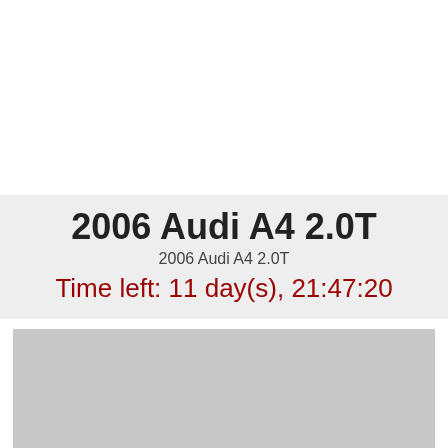2006 Audi A4 2.0T
2006 Audi A4 2.0T
Time left: 11 day(s), 21:47:20
[Figure (photo): Gray placeholder area for vehicle photo of 2006 Audi A4 2.0T]